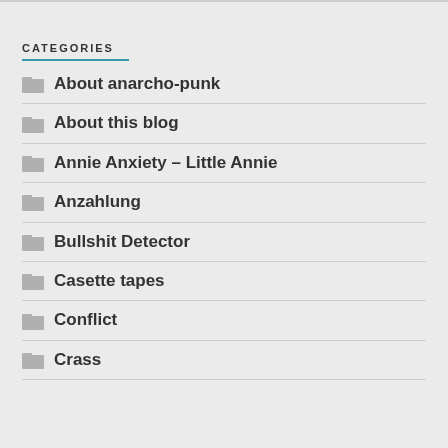CATEGORIES
About anarcho-punk
About this blog
Annie Anxiety – Little Annie
Anzahlung
Bullshit Detector
Casette tapes
Conflict
Crass